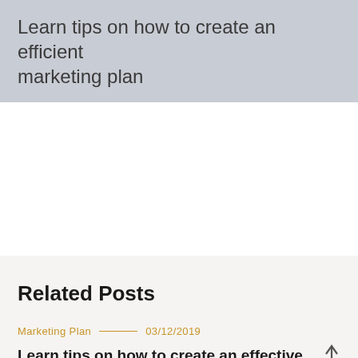Learn tips on how to create an efficient marketing plan
Related Posts
Marketing Plan — 03/12/2019
Learn tips on how to create an effective advertising plan